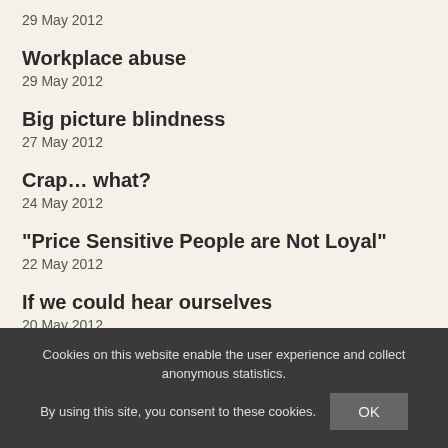29 May 2012
Workplace abuse
29 May 2012
Big picture blindness
27 May 2012
Crap… what?
24 May 2012
"Price Sensitive People are Not Loyal"
22 May 2012
If we could hear ourselves
20 May 2012
Tivoli sign
17 May 2012
Malware an indication of openness?
15 May 2012
Cookies on this website enable the user experience and collect anonymous statistics.
By using this site, you consent to these cookies. OK